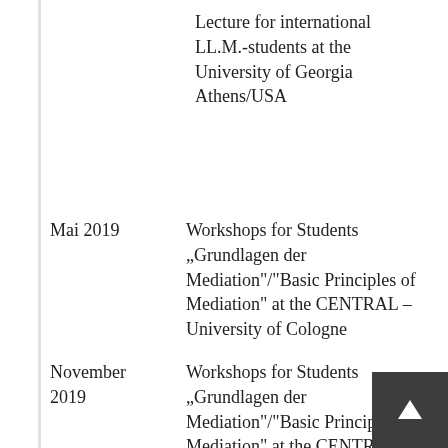Lecture for international LL.M.-students at the University of Georgia Athens/USA
Mai 2019 | Workshops for Students „Grundlagen der Mediation"/"Basic Principles of Mediation" at the CENTRAL – University of Cologne
November 2019 | Workshops for Students „Grundlagen der Mediation"/"Basic Principles of Mediation" at the CENTRAL –